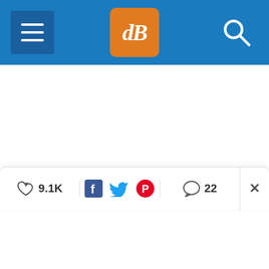[Figure (screenshot): Blue navigation bar with hamburger menu icon on left, orange dPS logo in center, and white search/magnifier icon on right]
[Figure (screenshot): Social sharing bar with heart icon showing 9.1K likes, Facebook, Twitter, and Pinterest share icons, comment bubble showing 22 comments, and close X button]